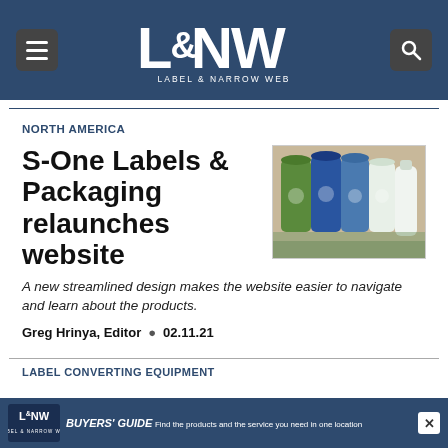L&NW Label & Narrow Web
NORTH AMERICA
[Figure (photo): Product photo showing several flexible packaging pouches in green, blue, and white with a logo, and a bottle, arranged together.]
S-One Labels & Packaging relaunches website
A new streamlined design makes the website easier to navigate and learn about the products.
Greg Hrinya, Editor • 02.11.21
LABEL CONVERTING EQUIPMENT
[Figure (other): L&NW Buyers' Guide advertisement banner: 'Find the products and the service you need in one location']